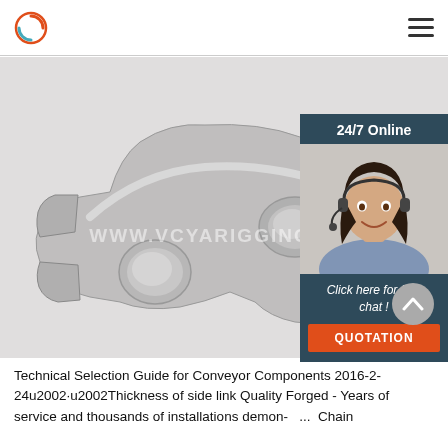vcyarigging.com navigation header with logo and menu
[Figure (photo): Close-up photo of a forged steel conveyor chain side link component, silver/grey metallic, with two raised circular bosses and a curved fork-like profile. Watermark text 'WWW.VCYARIGGING' overlaid. A live chat widget overlay appears on the right side showing '24/7 Online', a woman wearing a headset, 'Click here for free chat!', and a red QUOTATION button.]
Technical Selection Guide for Conveyor Components 2016-2-24u2002·u2002Thickness of side link Quality Forged - Years of service and thousands of installations demon- ... Chain